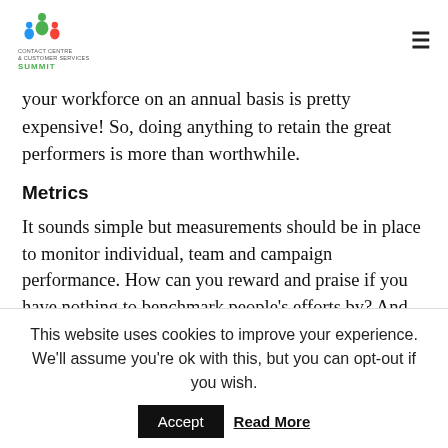Contact Centre & Customer Services Summit
your workforce on an annual basis is pretty expensive! So, doing anything to retain the great performers is more than worthwhile.
Metrics
It sounds simple but measurements should be in place to monitor individual, team and campaign performance. How can you reward and praise if you have nothing to benchmark people's efforts by? And similarly, how can you report success on a
This website uses cookies to improve your experience. We'll assume you're ok with this, but you can opt-out if you wish.
Accept   Read More